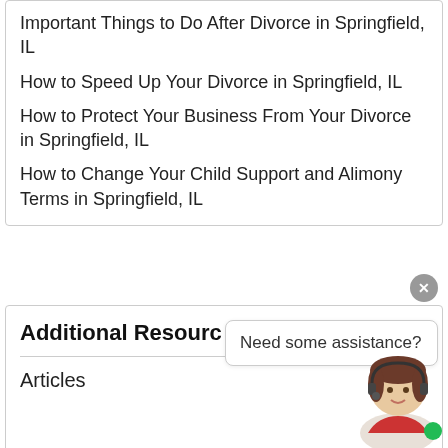Important Things to Do After Divorce in Springfield, IL
How to Speed Up Your Divorce in Springfield, IL
How to Protect Your Business From Your Divorce in Springfield, IL
How to Change Your Child Support and Alimony Terms in Springfield, IL
Additional Resources
Need some assistance?
Articles